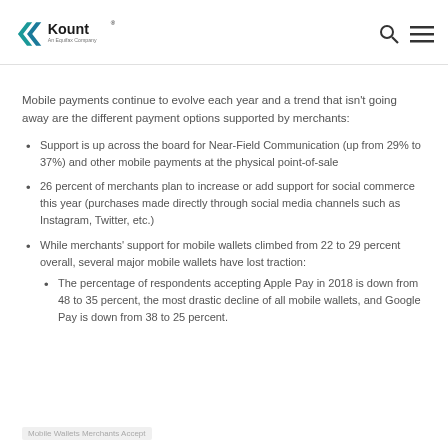Kount — An Equifax Company
Mobile payments continue to evolve each year and a trend that isn't going away are the different payment options supported by merchants:
Support is up across the board for Near-Field Communication (up from 29% to 37%) and other mobile payments at the physical point-of-sale
26 percent of merchants plan to increase or add support for social commerce this year (purchases made directly through social media channels such as Instagram, Twitter, etc.)
While merchants' support for mobile wallets climbed from 22 to 29 percent overall, several major mobile wallets have lost traction:
The percentage of respondents accepting Apple Pay in 2018 is down from 48 to 35 percent, the most drastic decline of all mobile wallets, and Google Pay is down from 38 to 25 percent.
Mobile Wallets Merchants Accept